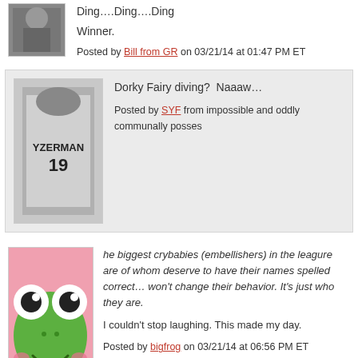[Figure (photo): Hockey player avatar image, grayscale]
Ding….Ding….Ding
Winner.
Posted by Bill from GR on 03/21/14 at 01:47 PM ET
[Figure (photo): Yzerman #19 jersey, black and white hockey photo]
Dorky Fairy diving? Naaaw…
Posted by SYF from impossible and oddly communally posses…
[Figure (illustration): Cartoon frog avatar (Keroppi-style), green frog with big eyes on pink background]
he biggest crybabies (embellishers) in the leagure are of whom deserve to have their names spelled correct… won't change their behavior. It's just who they are.

I couldn't stop laughing. This made my day.
Posted by bigfrog on 03/21/14 at 06:56 PM ET
Add a Comment